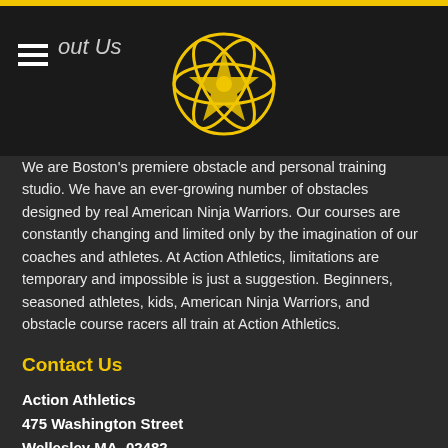About Us
[Figure (logo): Action Athletics star/atom logo in yellow on dark background]
We are Boston's premiere obstacle and personal training studio. We have an ever-growing number of obstacles designed by real American Ninja Warriors. Our courses are constantly changing and limited only by the imagination of our coaches and athletes. At Action Athletics, limitations are temporary and impossible is just a suggestion. Beginners, seasoned athletes, kids, American Ninja Warriors, and obstacle course racers all train at Action Athletics.
Contact Us
Action Athletics
475 Washington Street
Wellesley MA, 02482
(617) 916-9957 or email us
Connect with Us
[Figure (other): Social media icons: email envelope, Facebook, Instagram, YouTube in yellow]